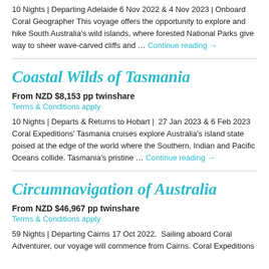10 Nights | Departing Adelaide 6 Nov 2022 & 4 Nov 2023 | Onboard Coral Geographer This voyage offers the opportunity to explore and hike South Australia's wild islands, where forested National Parks give way to sheer wave-carved cliffs and … Continue reading →
Coastal Wilds of Tasmania
From NZD $8,153 pp twinshare
Terms & Conditions apply
10 Nights | Departs & Returns to Hobart |  27 Jan 2023 & 6 Feb 2023 Coral Expeditions' Tasmania cruises explore Australia's island state poised at the edge of the world where the Southern, Indian and Pacific Oceans collide. Tasmania's pristine … Continue reading →
Circumnavigation of Australia
From NZD $46,967 pp twinshare
Terms & Conditions apply
59 Nights | Departing Cairns 17 Oct 2022.  Sailing aboard Coral Adventurer, our voyage will commence from Cairns. Coral Expeditions